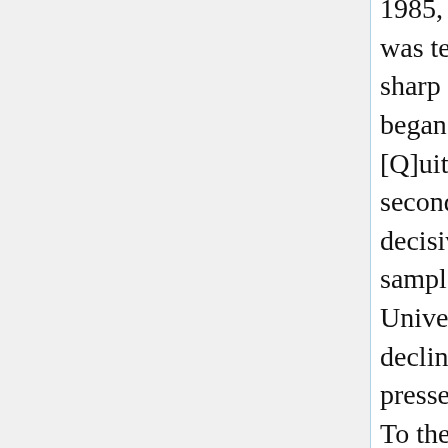1985, and if so, whether that decline was temporally coincident with the sharp increases in serials prices that began in the 1980s and 1990s....[Q]uite intriguingly, the answer to the second question would appear to be a decisive no: only one library in the sample – the very smallest, at Barry University – shows a consistent decline in purchasing from university presses extending back to the 1980s. To the extent that any of the other libraries cut their purchasing from the sample presses, they tended to do so later, mainly around either 2000 or 2007 – dates which, likely not coincidentally, mark the beginnings of the two most recent